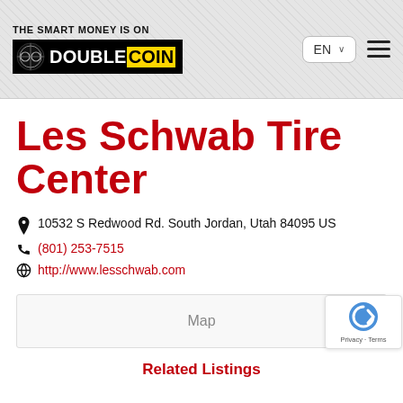THE SMART MONEY IS ON DOUBLECOIN
Les Schwab Tire Center
10532 S Redwood Rd. South Jordan, Utah 84095 US
(801) 253-7515
http://www.lesschwab.com
[Figure (map): Map placeholder area labeled 'Map']
Related Listings